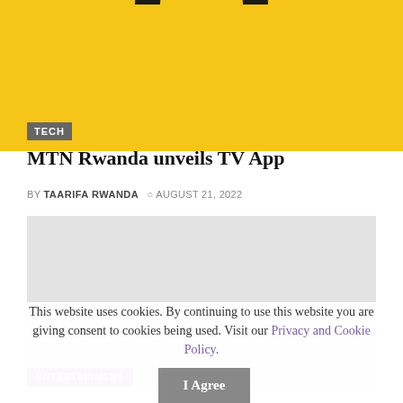[Figure (photo): Yellow background hero image with MTN logo (partial arc/semicircle visible at top), and a TECH badge in grey at the bottom left]
MTN Rwanda unveils TV App
BY TAARIFA RWANDA  ○ AUGUST 21, 2022
[Figure (photo): Light grey image placeholder, with an ENTERTAINMENT badge in purple at the bottom left]
This website uses cookies. By continuing to use this website you are giving consent to cookies being used. Visit our Privacy and Cookie Policy.
I Agree